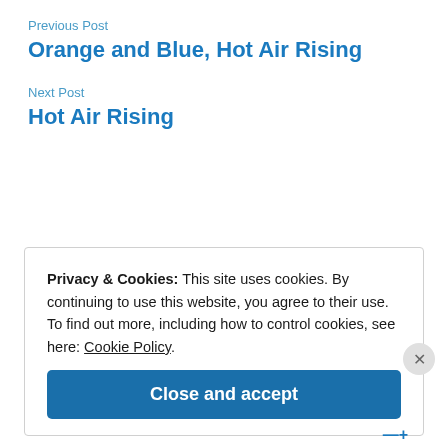Previous Post
Orange and Blue, Hot Air Rising
Next Post
Hot Air Rising
Privacy & Cookies: This site uses cookies. By continuing to use this website, you agree to their use.
To find out more, including how to control cookies, see here: Cookie Policy
Close and accept